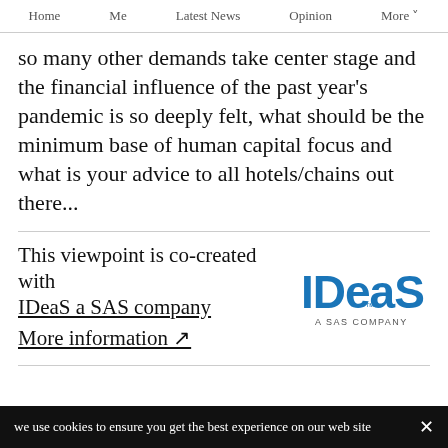Home   Me   Latest News   Opinion   More
so many other demands take center stage and the financial influence of the past year's pandemic is so deeply felt, what should be the minimum base of human capital focus and what is your advice to all hotels/chains out there...
This viewpoint is co-created with IDeaS a SAS company
More information
[Figure (logo): IDeaS - A SAS Company logo in blue]
we use cookies to ensure you get the best experience on our website